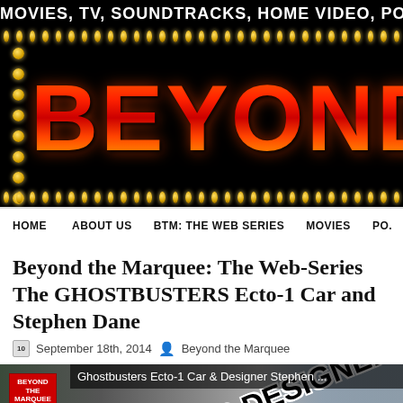MOVIES, TV, SOUNDTRACKS, HOME VIDEO, PO...
[Figure (logo): Beyond the Marquee logo with marquee lights (gold dots) surrounding large red neon-style BEYOND text on black background]
HOME | ABOUT US | BTM: THE WEB SERIES | MOVIES | PO...
Beyond the Marquee: The Web-Series The GHOSTBUSTERS Ecto-1 Car and Stephen Dane
September 18th, 2014   Beyond the Marquee
[Figure (screenshot): Video thumbnail showing Ghostbusters Ecto-1 Car & Designer Stephen ... title bar, BTM logo, large diagonal text reading GHOSTBUSTER DESIGNER STEPHEN DANE ECTO-1, and a man in the background]